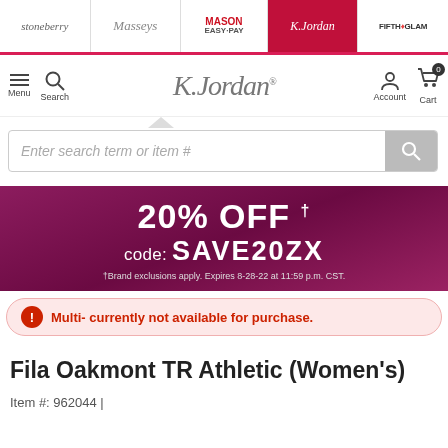stoneberry | Masseys | MASON EASY-PAY | K.Jordan | FIFTH GLAM
[Figure (screenshot): K.Jordan website navigation bar with Menu, Search, K.Jordan logo, Account, and Cart icons]
[Figure (screenshot): Search input bar with placeholder text 'Enter search term or item #' and search button]
[Figure (infographic): Promotional banner: 20% OFF† code: SAVE20ZX. †Brand exclusions apply. Expires 8-28-22 at 11:59 p.m. CST.]
Multi- currently not available for purchase.
Fila Oakmont TR Athletic (Women's)
Item #: 962044 |